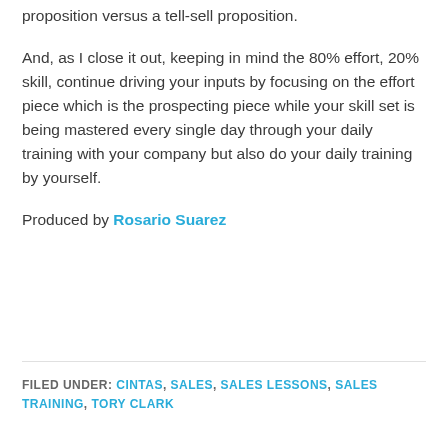proposition versus a tell-sell proposition.
And, as I close it out, keeping in mind the 80% effort, 20% skill, continue driving your inputs by focusing on the effort piece which is the prospecting piece while your skill set is being mastered every single day through your daily training with your company but also do your daily training by yourself.
Produced by Rosario Suarez
FILED UNDER: CINTAS, SALES, SALES LESSONS, SALES TRAINING, TORY CLARK